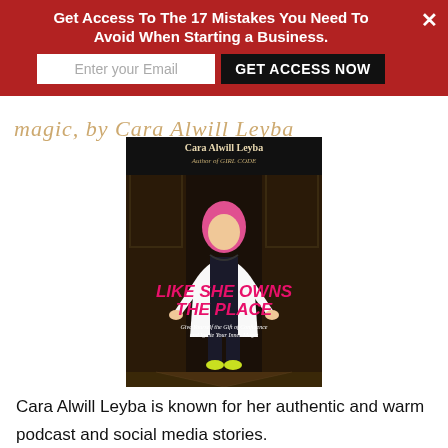Get Access To The 17 Mistakes You Need To Avoid When Starting a Business.
[Figure (photo): Book cover of 'Like She Owns The Place' by Cara Alwill Leyba, Author of GIRL CODE. Shows a woman with pink hair in a white blazer and black outfit standing confidently between doors. Subtitle: Give Yourself the Gift of Confidence and Ignite Your Inner Magic.]
Cara Alwill Leyba is known for her authentic and warm podcast and social media stories.